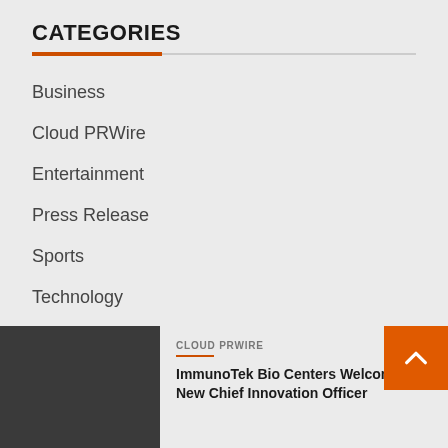CATEGORIES
Business
Cloud PRWire
Entertainment
Press Release
Sports
Technology
World
[Figure (photo): Dark gray rectangular image placeholder for article thumbnail]
CLOUD PRWIRE
ImmunoTek Bio Centers Welcomes New Chief Innovation Officer